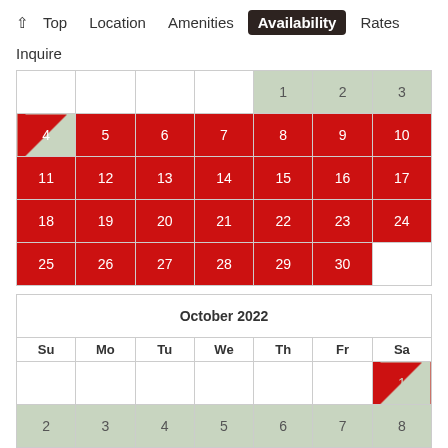↑ Top   Location   Amenities   Availability   Rates
Inquire
[Figure (other): Partial September 2022 calendar showing days 1-30, with days 5-30 marked in red (booked), days 1-3 in grey (available), and day 4 partially split red/grey]
| Su | Mo | Tu | We | Th | Fr | Sa |
| --- | --- | --- | --- | --- | --- | --- |
|  |  |  |  | 1 | 2 | 3 |
| 4 | 5 | 6 | 7 | 8 | 9 | 10 |
| 11 | 12 | 13 | 14 | 15 | 16 | 17 |
| 18 | 19 | 20 | 21 | 22 | 23 | 24 |
| 25 | 26 | 27 | 28 | 29 | 30 |  |
| Su | Mo | Tu | We | Th | Fr | Sa |
| --- | --- | --- | --- | --- | --- | --- |
|  |  |  |  |  |  | 1 |
| 2 | 3 | 4 | 5 | 6 | 7 | 8 |
| 9 | 10 | 11 | 12 | 13 | 14 | 15 |